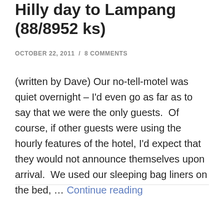Hilly day to Lampang (88/8952 ks)
OCTOBER 22, 2011  /  8 COMMENTS
(written by Dave) Our no-tell-motel was quiet overnight – I'd even go as far as to say that we were the only guests.  Of course, if other guests were using the hourly features of the hotel, I'd expect that they would not announce themselves upon arrival.  We used our sleeping bag liners on the bed, … Continue reading